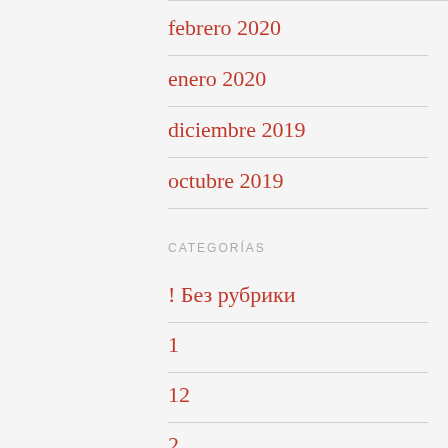febrero 2020
enero 2020
diciembre 2019
octubre 2019
CATEGORÍAS
! Без рубрики
1
12
2